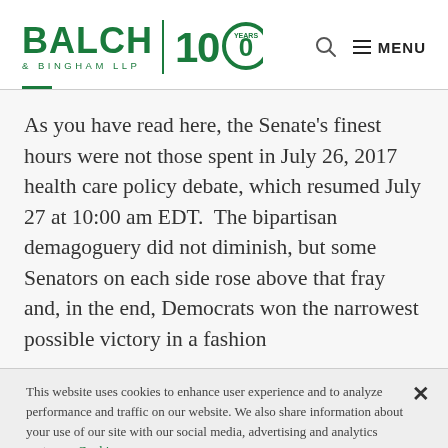[Figure (logo): Balch & Bingham LLP logo with '100 Years' circular badge in green]
As you have read here, the Senate’s finest hours were not those spent in July 26, 2017 health care policy debate, which resumed July 27 at 10:00 am EDT.  The bipartisan demagoguery did not diminish, but some Senators on each side rose above that fray and, in the end, Democrats won the narrowest possible victory in a fashion
This website uses cookies to enhance user experience and to analyze performance and traffic on our website. We also share information about your use of our site with our social media, advertising and analytics partners.  Cookie Policy